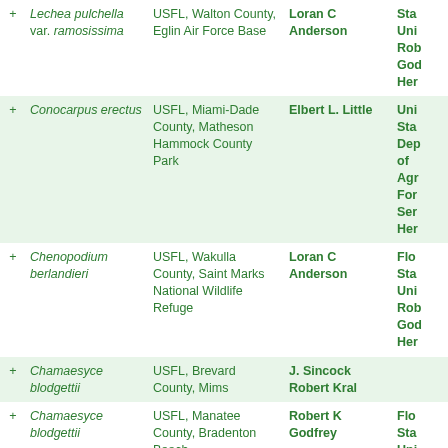| + | Species | Location | Collector | Institution |
| --- | --- | --- | --- | --- |
| + | Lechea pulchella var. ramosissima | USFL, Walton County, Eglin Air Force Base | Loran C Anderson | Sta Uni Rob God Her |
| + | Conocarpus erectus | USFL, Miami-Dade County, Matheson Hammock County Park | Elbert L. Little | Uni Sta Dep of Agr For Ser Her |
| + | Chenopodium berlandieri | USFL, Wakulla County, Saint Marks National Wildlife Refuge | Loran C Anderson | Flo Sta Uni Rob God Her |
| + | Chamaesyce blodgettii | USFL, Brevard County, Mims | J. Sincock Robert Kral |  |
| + | Chamaesyce blodgettii | USFL, Manatee County, Bradenton Beach | Robert K Godfrey | Flo Sta Uni Rob God Her |
| + |  | USFL, St. |  | Flo Sta |